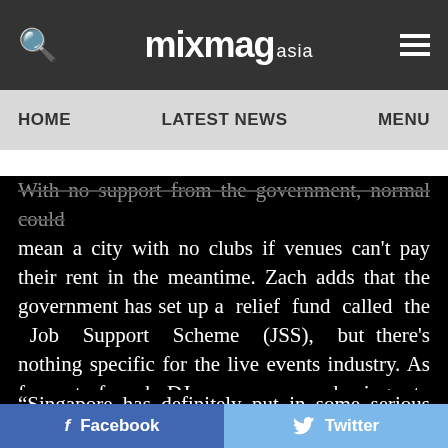mixmag asia — HOME | LATEST NEWS | MENU
With no support from the government, normal could mean a city with no clubs if venues can't pay their rent in the meantime. Zach adds that the government has set up a relief fund called the Job Support Scheme (JSS), but there's nothing specific for the live events industry. As for out-of-work DJs, many are having to abandon what they know and love, and instead look towards new prospects for an income.
“Singapore has definitely put in some serious cash into
Facebook   Twitter